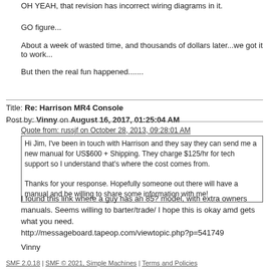OH YEAH, that revision has incorrect wiring diagrams in it.
GO figure...
About a week of wasted time, and thousands of dollars later...we got it to work...
But then the real fun happened.......
Title: Re: Harrison MR4 Console
Post by: Vinny on August 16, 2017, 01:25:04 AM
Quote from: russjf on October 28, 2013, 09:28:01 AM
Hi Jim, I've been in touch with Harrison and they say they can send me a new manual for US$600 + Shipping. They charge $125/hr for tech support so I understand that's where the cost comes from.

Thanks for your response. Hopefully someone out there will have a manual and be willing to share some information with me!
I found this link where a guy has an 85? model, with extra owners manuals. Seems willing to barter/trade/ I hope this is okay amd gets what you need.
http://messageboard.tapeop.com/viewtopic.php?p=541749
Vinny
SMF 2.0.18 | SMF © 2021, Simple Machines | Terms and Policies